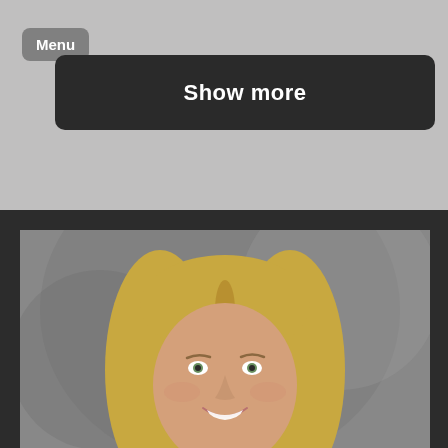Menu
Show more
[Figure (photo): Professional headshot of a smiling woman with long blonde hair, wearing a dark top, photographed against a gray background.]